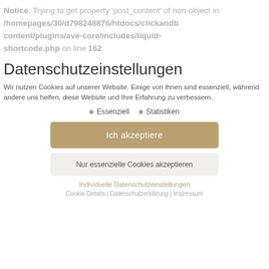Notice: Trying to get property 'post_content' of non-object in /homepages/30/d798248876/htdocs/clickandb content/plugins/ave-core/includes/liquid-shortcode.php on line 162
Datenschutzeinstellungen
Wir nutzen Cookies auf unserer Website. Einige von ihnen sind essenziell, während andere uns helfen, diese Website und Ihre Erfahrung zu verbessern.
Essenziell
Statistiken
Ich akzeptiere
Nur essenzielle Cookies akzeptieren
Individuelle Datenschutzeinstellungen
Cookie-Details | Datenschutzerklärung | Impressum